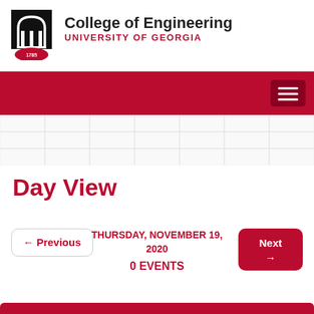[Figure (logo): University of Georgia College of Engineering logo with arch and 1785 seal]
College of Engineering
UNIVERSITY OF GEORGIA
[Figure (other): Red navigation bar with hamburger menu icon]
[Figure (other): Light grid/calendar background area]
Day View
← Previous   THURSDAY, NOVEMBER 19, 2020   Next →
0 EVENTS